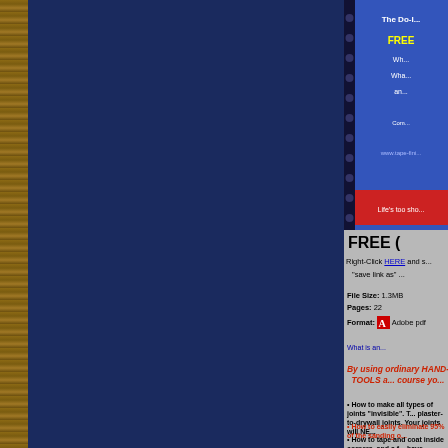[Figure (other): Book cover image for a do-it-yourself tape finishing guide from www.tape-finish.com, partially visible at top right]
FREE (
Right-Click HERE and s... "save link as" ...
File Size: 1.3MB
Pages: 22
Format: Adobe pdf
What is an...
By using ordinary HAND-TOOLS a... course yo...
How to make all types of joints "invisible". T... plaster-to-drywall joints. Your joints will NE...
How to easily eliminate 95% of the sanding o...
How to tape and coat inside corners, and a f... have PERFECT corners!